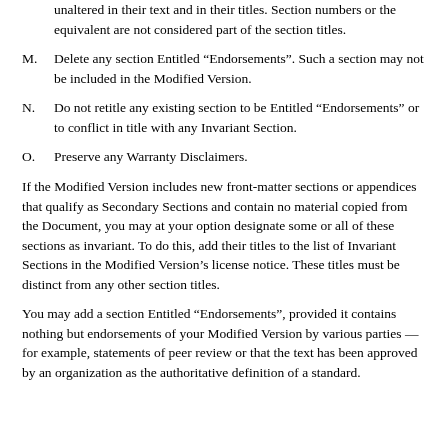unaltered in their text and in their titles. Section numbers or the equivalent are not considered part of the section titles.
M. Delete any section Entitled “Endorsements”. Such a section may not be included in the Modified Version.
N. Do not retitle any existing section to be Entitled “Endorsements” or to conflict in title with any Invariant Section.
O. Preserve any Warranty Disclaimers.
If the Modified Version includes new front-matter sections or appendices that qualify as Secondary Sections and contain no material copied from the Document, you may at your option designate some or all of these sections as invariant. To do this, add their titles to the list of Invariant Sections in the Modified Version’s license notice. These titles must be distinct from any other section titles.
You may add a section Entitled “Endorsements”, provided it contains nothing but endorsements of your Modified Version by various parties — for example, statements of peer review or that the text has been approved by an organization as the authoritative definition of a standard.